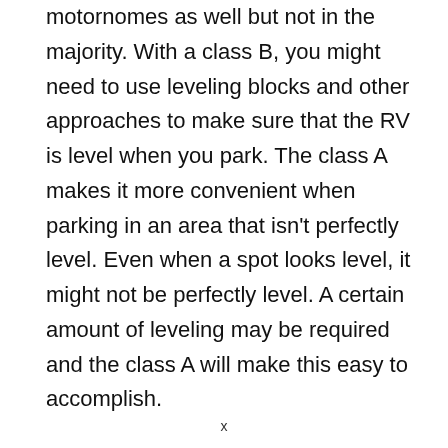motornomes as well but not in the majority. With a class B, you might need to use leveling blocks and other approaches to make sure that the RV is level when you park. The class A makes it more convenient when parking in an area that isn't perfectly level. Even when a spot looks level, it might not be perfectly level. A certain amount of leveling may be required and the class A will make this easy to accomplish.
Capacities
If you expect to use lots of water and store a
x